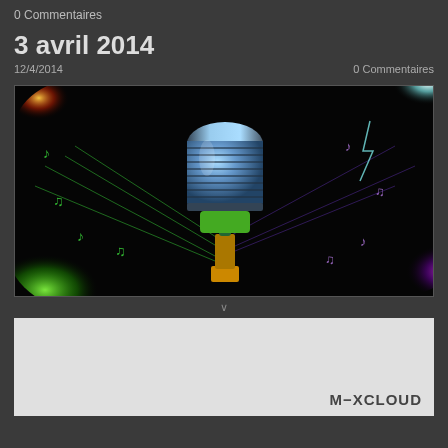0 Commentaires
3 avril 2014
12/4/2014   0 Commentaires
[Figure (photo): Colorful illustration of a vintage microphone on a dark background with neon music notes and glowing lights in green, red, yellow, purple, and cyan.]
[Figure (screenshot): Bottom panel showing partial content with M-XCLOUD branding in lower right corner.]